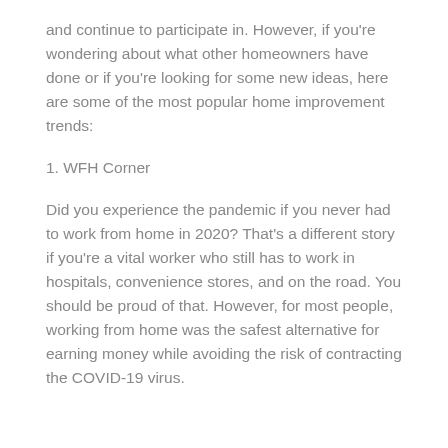and continue to participate in. However, if you're wondering about what other homeowners have done or if you're looking for some new ideas, here are some of the most popular home improvement trends:
1. WFH Corner
Did you experience the pandemic if you never had to work from home in 2020? That's a different story if you're a vital worker who still has to work in hospitals, convenience stores, and on the road. You should be proud of that. However, for most people, working from home was the safest alternative for earning money while avoiding the risk of contracting the COVID-19 virus.